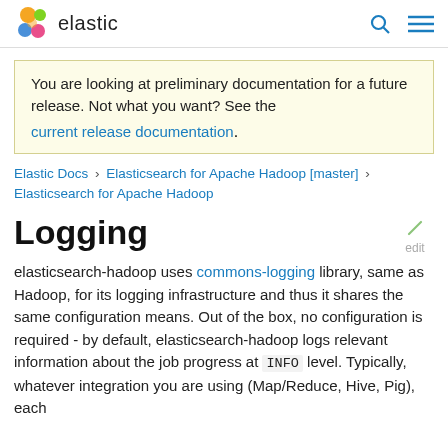elastic
You are looking at preliminary documentation for a future release. Not what you want? See the current release documentation.
Elastic Docs › Elasticsearch for Apache Hadoop [master] › Elasticsearch for Apache Hadoop
Logging
elasticsearch-hadoop uses commons-logging library, same as Hadoop, for its logging infrastructure and thus it shares the same configuration means. Out of the box, no configuration is required - by default, elasticsearch-hadoop logs relevant information about the job progress at INFO level. Typically, whatever integration you are using (Map/Reduce, Hive, Pig), each